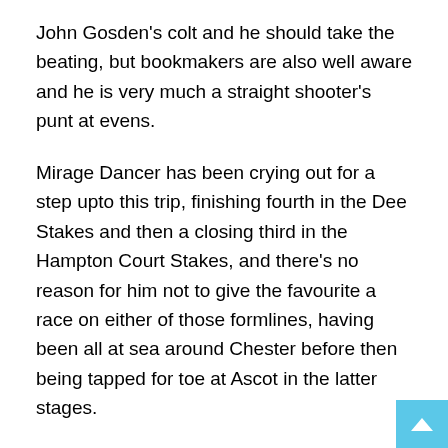John Gosden's colt and he should take the beating, but bookmakers are also well aware and he is very much a straight shooter's punt at evens.
Mirage Dancer has been crying out for a step upto this trip, finishing fourth in the Dee Stakes and then a closing third in the Hampton Court Stakes, and there's no reason for him not to give the favourite a race on either of those formlines, having been all at sea around Chester before then being tapped for toe at Ascot in the latter stages.
Aidan O'Brien had the 1-2 in the race last year and he had a decent chance in the shape of Venice Beach, who disappointed in the Derby but knuckled down to get the better of eventual Derby winner Wings of Eagles in the Chester Vase (Count Octave fifth) beforehand with a toughly professional performance that impressed Ryan Moore. His Epsom showing